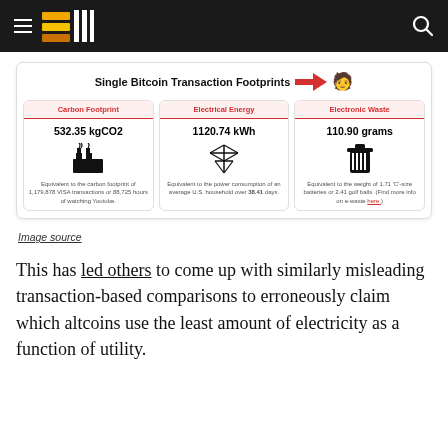Navigation header with logo and search icon
[Figure (infographic): Single Bitcoin Transaction Footprints infographic with three cards: Carbon Footprint 532.35 kgCO2, Electrical Energy 1120.74 kWh, Electronic Waste 110.90 grams. Includes a red arrow and person emoji pointing to the title.]
Image source
This has led others to come up with similarly misleading transaction-based comparisons to erroneously claim which altcoins use the least amount of electricity as a function of utility.